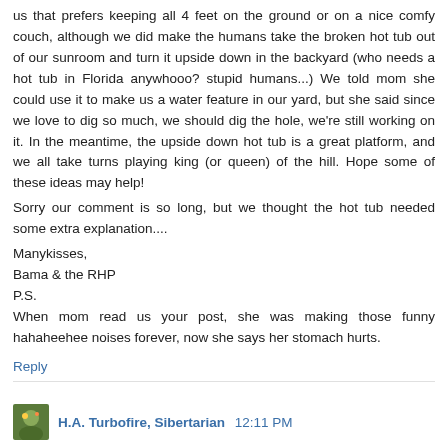us that prefers keeping all 4 feet on the ground or on a nice comfy couch, although we did make the humans take the broken hot tub out of our sunroom and turn it upside down in the backyard (who needs a hot tub in Florida anywhooo? stupid humans...) We told mom she could use it to make us a water feature in our yard, but she said since we love to dig so much, we should dig the hole, we're still working on it. In the meantime, the upside down hot tub is a great platform, and we all take turns playing king (or queen) of the hill. Hope some of these ideas may help!
Sorry our comment is so long, but we thought the hot tub needed some extra explanation....
Manykisses,
Bama & the RHP
P.S.
When mom read us your post, she was making those funny hahaheehee noises forever, now she says her stomach hurts.
Reply
H.A. Turbofire, Sibertarian 12:11 PM